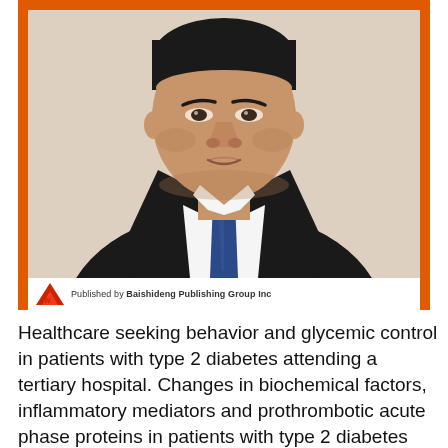[Figure (photo): Headshot photo of an Asian man in a dark suit and blue tie, wearing a white dress shirt, against a white background. The photo is framed with an orange border and has a white publisher bar at the bottom showing a logo and 'Published by Baishideng Publishing Group Inc'.]
Healthcare seeking behavior and glycemic control in patients with type 2 diabetes attending a tertiary hospital. Changes in biochemical factors, inflammatory mediators and prothrombotic acute phase proteins in patients with type 2 diabetes mellitus on 12 Months Of Dietary Modification.